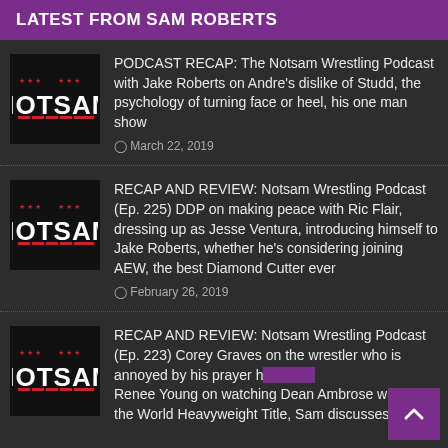LATEST FROM SAM ROBERTS
PODCAST RECAP: The Notsam Wrestling Podcast with Jake Roberts on Andre's dislike of Studd, the psychology of turning face or heel, his one man show — March 22, 2019
RECAP AND REVIEW: Notsam Wrestling Podcast (Ep. 225) DDP on making peace with Ric Flair, dressing up as Jesse Ventura, introducing himself to Jake Roberts, whether he's considering joining AEW, the best Diamond Cutter ever — February 26, 2019
RECAP AND REVIEW: Notsam Wrestling Podcast (Ep. 223) Corey Graves on the wrestler who is annoyed by his prayer h... Renee Young on watching Dean Ambrose win the World Heavyweight Title, Sam discusses